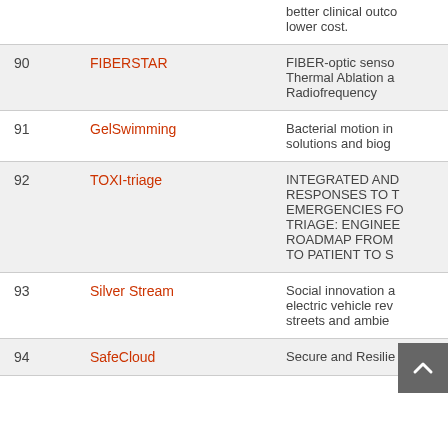| # | Name | Description |
| --- | --- | --- |
|  |  | better clinical outcomes at lower cost. |
| 90 | FIBERSTAR | FIBER-optic sensor for Thermal Ablation and Radiofrequency |
| 91 | GelSwimming | Bacterial motion in solutions and biog |
| 92 | TOXI-triage | INTEGRATED AND RESPONSES TO T EMERGENCIES FO TRIAGE: ENGINEE ROADMAP FROM TO PATIENT TO S |
| 93 | Silver Stream | Social innovation and electric vehicle re streets and ambie |
| 94 | SafeCloud | Secure and Resilie |